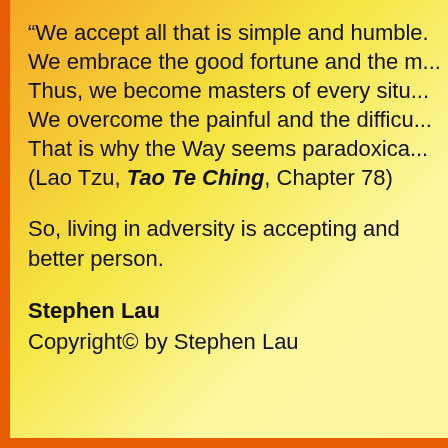“We accept all that is simple and humble. We embrace the good fortune and the misfortune. Thus, we become masters of every situation. We overcome the painful and the difficult. That is why the Way seems paradoxical. (Lao Tzu, Tao Te Ching, Chapter 78)
So, living in adversity is accepting and embracing it to become a better person.
Stephen Lau
Copyright© by Stephen Lau